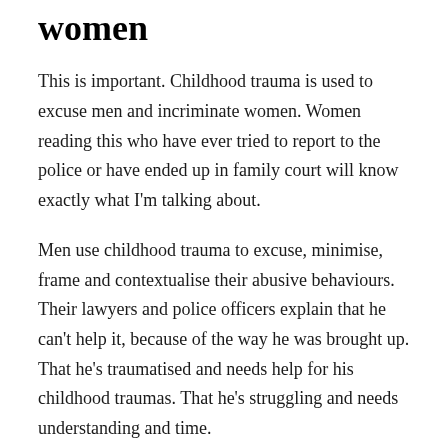women
This is important. Childhood trauma is used to excuse men and incriminate women. Women reading this who have ever tried to report to the police or have ended up in family court will know exactly what I'm talking about.
Men use childhood trauma to excuse, minimise, frame and contextualise their abusive behaviours. Their lawyers and police officers explain that he can't help it, because of the way he was brought up. That he's traumatised and needs help for his childhood traumas. That he's struggling and needs understanding and time.
Women will tell you, when their childhood traumas are brought up in an official context, it is not for a good